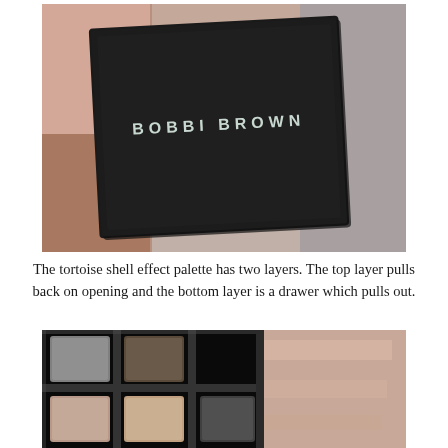[Figure (photo): A Bobbi Brown black tortoise shell effect makeup palette closed, with the Bobbi Brown logo in silver lettering on a matte black lid, placed on what appears to be other open eyeshadow palettes showing pink and grey shimmer shades.]
The tortoise shell effect palette has two layers. The top layer pulls back on opening and the bottom layer is a drawer which pulls out.
[Figure (photo): Close-up of the open Bobbi Brown tortoise shell palette showing individual eyeshadow pans in matte neutral and taupe shades held in a glossy black frame, with shimmery pink eyeshadow visible in the background.]